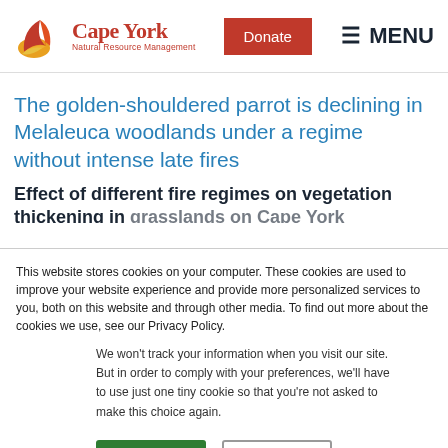[Figure (logo): Cape York Natural Resource Management logo with leaf/flame graphic and text]
The golden-shouldered parrot is declining in Melaleuca woodlands under a regime without intense late fires
Effect of different fire regimes on vegetation thickening in grasslands on Cape York Peninsula
This website stores cookies on your computer. These cookies are used to improve your website experience and provide more personalized services to you, both on this website and through other media. To find out more about the cookies we use, see our Privacy Policy.
We won't track your information when you visit our site. But in order to comply with your preferences, we'll have to use just one tiny cookie so that you're not asked to make this choice again.